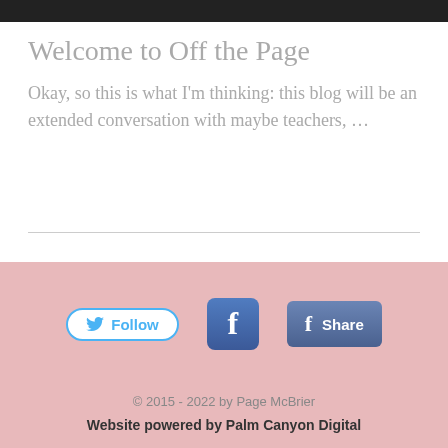[Figure (photo): Partial photo at top of page, mostly black/dark]
Welcome to Off the Page
Okay, so this is what I'm thinking: this blog will be an extended conversation with maybe teachers, …
[Figure (infographic): Social media buttons: Twitter Follow button, Facebook icon, Facebook Share button]
© 2015 - 2022 by Page McBrier
Website powered by Palm Canyon Digital